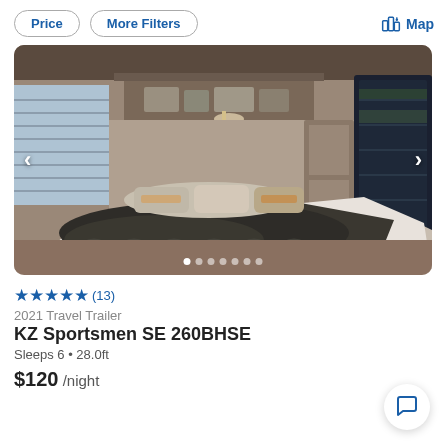Price | More Filters | Map
[Figure (photo): Interior photo of RV bedroom with white bed, dark fluffy blanket, decorative pillows, wood shelving/cabinetry, window on left, TV/window on right, with navigation arrows and dot indicators]
★★★★★ (13)
2021 Travel Trailer
KZ Sportsmen SE 260BHSE
Sleeps 6 • 28.0ft
$120 /night